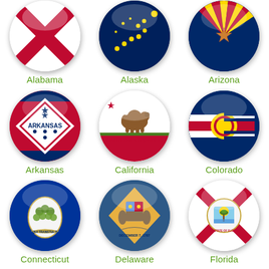[Figure (illustration): Grid of 9 US state flag buttons/badges in circular glossy form, arranged 3x3. Row 1: Alabama, Alaska, Arizona. Row 2: Arkansas, California, Colorado. Row 3: Connecticut, Delaware, Florida. Each badge has a circular glossy button with the state flag, and below it the state name in green text.]
Alabama
Alaska
Arizona
Arkansas
California
Colorado
Connecticut
Delaware
Florida